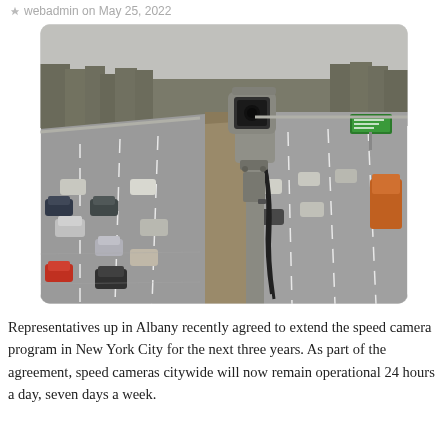webadmin on May 25, 2022
[Figure (photo): A highway speed camera mounted on a pole in the median, overlooking a multi-lane highway with cars in motion. Trees line the background. A green highway sign is visible in the distance on the right side.]
Representatives up in Albany recently agreed to extend the speed camera program in New York City for the next three years. As part of the agreement, speed cameras citywide will now remain operational 24 hours a day, seven days a week.